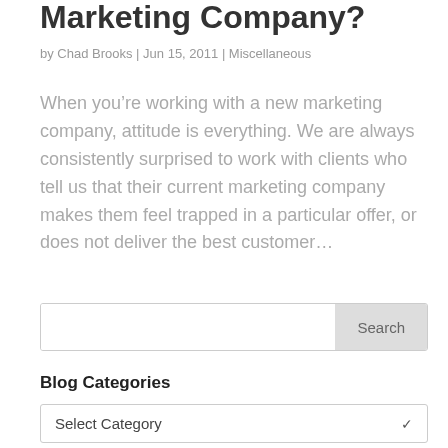Marketing Company?
by Chad Brooks | Jun 15, 2011 | Miscellaneous
When you’re working with a new marketing company, attitude is everything. We are always consistently surprised to work with clients who tell us that their current marketing company makes them feel trapped in a particular offer, or does not deliver the best customer…
Search
Blog Categories
Select Category